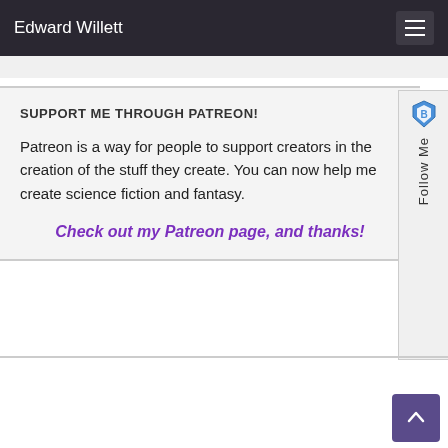Edward Willett
SUPPORT ME THROUGH PATREON!
Patreon is a way for people to support creators in the creation of the stuff they create. You can now help me create science fiction and fantasy.
Check out my Patreon page, and thanks!
MY AGENT
[Figure (logo): The Ethan Ellenberg Literary Agency logo — stylized books and letters EE]
Ethan Ellenberg
155 Suffolk St., #2B
New York, NY 10002
(212) 431-4554